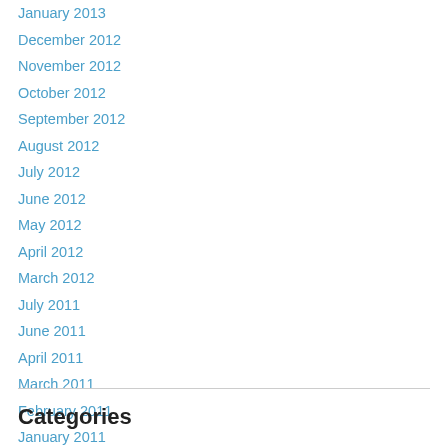January 2013
December 2012
November 2012
October 2012
September 2012
August 2012
July 2012
June 2012
May 2012
April 2012
March 2012
July 2011
June 2011
April 2011
March 2011
February 2011
January 2011
Categories